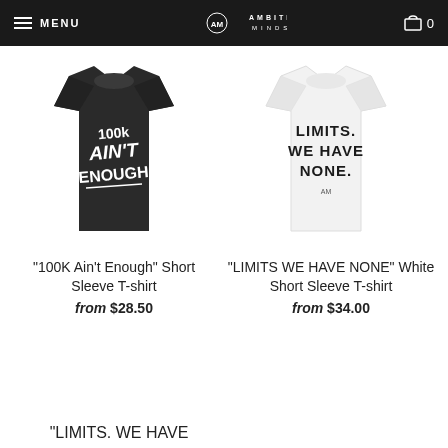MENU | AMBITIOUS MINDS | 0
[Figure (photo): Black t-shirt with '100K Ain't Enough' graphic text in white]
"100K Ain't Enough" Short Sleeve T-shirt
from $28.50
[Figure (photo): White t-shirt with 'LIMITS. WE HAVE NONE.' text in black]
"LIMITS WE HAVE NONE" White Short Sleeve T-shirt
from $34.00
"LIMITS. WE HAVE